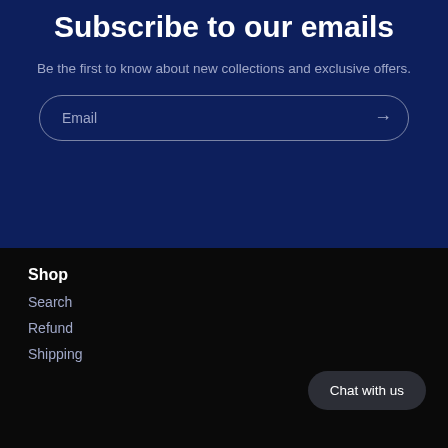Subscribe to our emails
Be the first to know about new collections and exclusive offers.
Email →
Shop
Search
Refund
Shipping
Chat with us